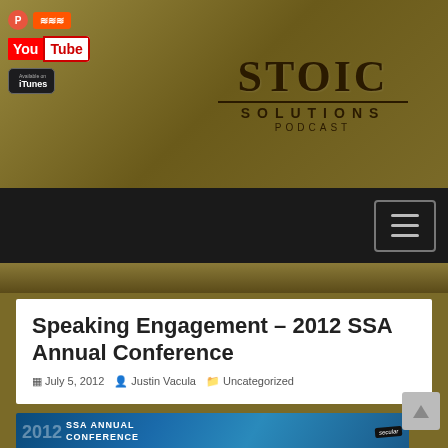Stoic Solutions Podcast — header with social media icons (Patreon, SoundCloud, YouTube, iTunes) and logo
[Figure (logo): Stoic Solutions Podcast logo with stylized text]
Speaking Engagement – 2012 SSA Annual Conference
July 5, 2012  Justin Vacula  Uncategorized
[Figure (photo): 2012 SSA Annual Conference banner image with colorful splash design and 'secular' text]